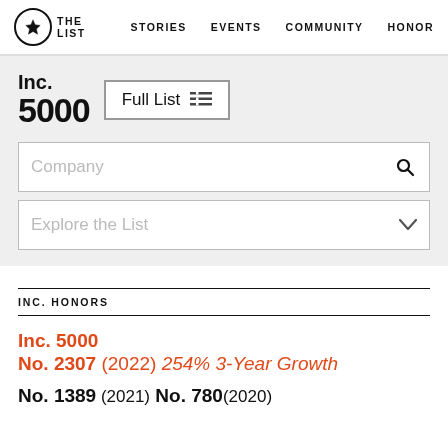THE LIST   STORIES   EVENTS   COMMUNITY   HONORS
[Figure (logo): Inc. 5000 logo with Full List button and search/filter boxes]
INC. HONORS
Inc. 5000
No. 2307 (2022) 254% 3-Year Growth
No. 1389 (2021) No. 780 (2020)